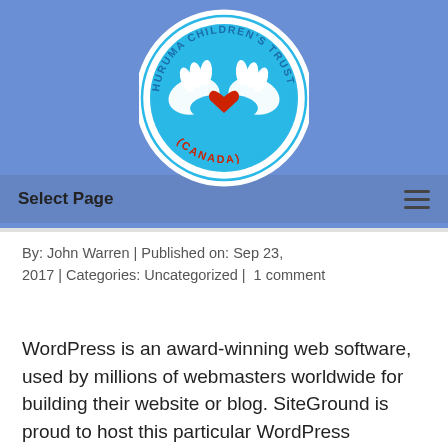[Figure (logo): Huruma Children's Trust (Canada) circular logo with hands forming a heart shape and a red heart in the center, blue and white colors, text around the border]
Select Page
By: John Warren | Published on: Sep 23, 2017 | Categories: Uncategorized |  1 comment
WordPress is an award-winning web software, used by millions of webmasters worldwide for building their website or blog. SiteGround is proud to host this particular WordPress installation and provide users with multiple